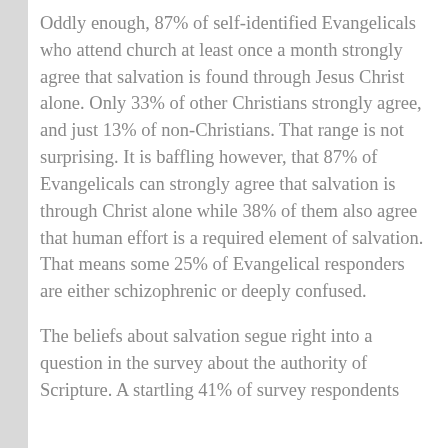Oddly enough, 87% of self-identified Evangelicals who attend church at least once a month strongly agree that salvation is found through Jesus Christ alone. Only 33% of other Christians strongly agree, and just 13% of non-Christians. That range is not surprising. It is baffling however, that 87% of Evangelicals can strongly agree that salvation is through Christ alone while 38% of them also agree that human effort is a required element of salvation. That means some 25% of Evangelical responders are either schizophrenic or deeply confused.
The beliefs about salvation segue right into a question in the survey about the authority of Scripture. A startling 41% of survey respondents